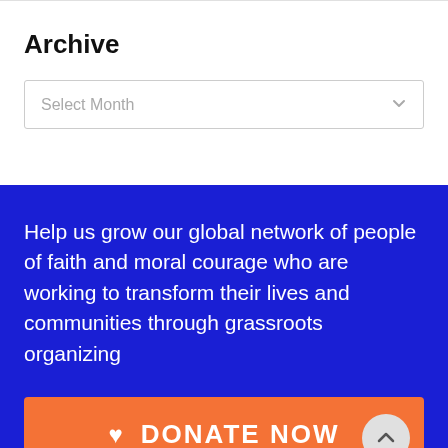Archive
Select Month
Help us grow our global network of people of faith and moral courage who are working to transform their lives and communities through grassroots organizing
DONATE NOW